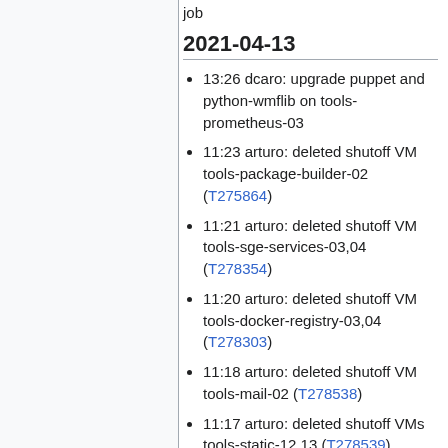job
2021-04-13
13:26 dcaro: upgrade puppet and python-wmflib on tools-prometheus-03
11:23 arturo: deleted shutoff VM tools-package-builder-02 (T275864)
11:21 arturo: deleted shutoff VM tools-sge-services-03,04 (T278354)
11:20 arturo: deleted shutoff VM tools-docker-registry-03,04 (T278303)
11:18 arturo: deleted shutoff VM tools-mail-02 (T278538)
11:17 arturo: deleted shutoff VMs tools-static-12,13 (T278539)
2021-04-11
16:07 bstorm: cleared E state from